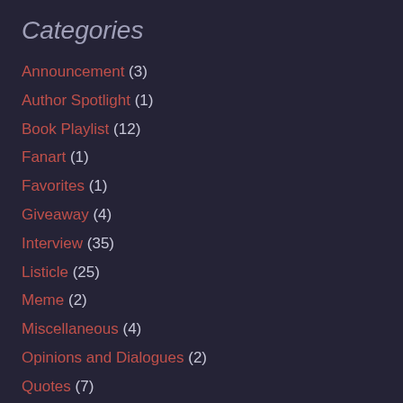Categories
Announcement (3)
Author Spotlight (1)
Book Playlist (12)
Fanart (1)
Favorites (1)
Giveaway (4)
Interview (35)
Listicle (25)
Meme (2)
Miscellaneous (4)
Opinions and Dialogues (2)
Quotes (7)
Reading Challenge (17)